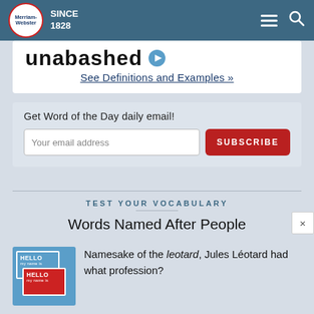Merriam-Webster SINCE 1828
unabashed
See Definitions and Examples »
Get Word of the Day daily email!
Your email address
SUBSCRIBE
TEST YOUR VOCABULARY
Words Named After People
[Figure (photo): Stack of blue and red HELLO my name is name tag stickers]
Namesake of the leotard, Jules Léotard had what profession?
Acrobat
Judge